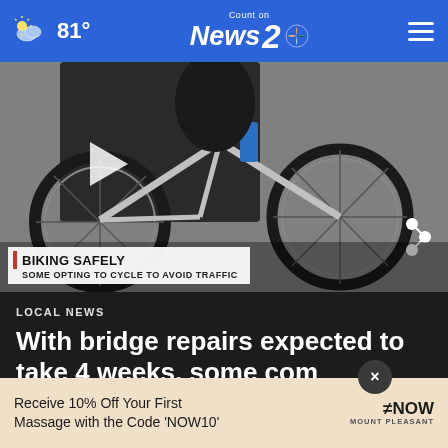81° — Count on News 2 NBC
[Figure (photo): Close-up photo of a person riding a bicycle, showing the wheel, pedals and frame. Lower-third chyron reads: BIKING SAFELY / SOME OPTING TO CYCLE TO AVOID TRAFFIC. A play button overlay is visible.]
LOCAL NEWS
With bridge repairs expected to take 4 weeks, some com...
Receive 10% Off Your First Massage with the Code 'NOW10'
≠NOW MOUNT PLEASANT